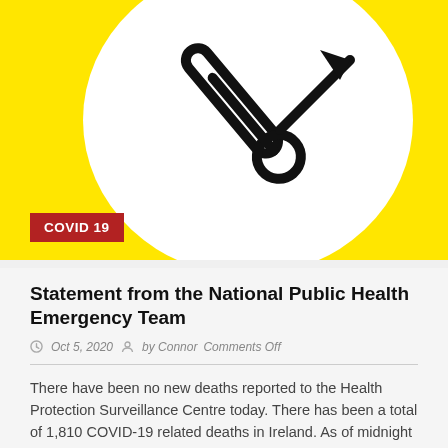[Figure (illustration): Yellow background with a white oval/circle containing a black thermometer icon with an upward arrow. A red badge with 'COVID 19' text is in the lower-left of the image.]
Statement from the National Public Health Emergency Team
Oct 5, 2020   by Connor   Comments Off
There have been no new deaths reported to the Health Protection Surveillance Centre today. There has been a total of 1,810 COVID-19 related deaths in Ireland. As of midnight Saturday...